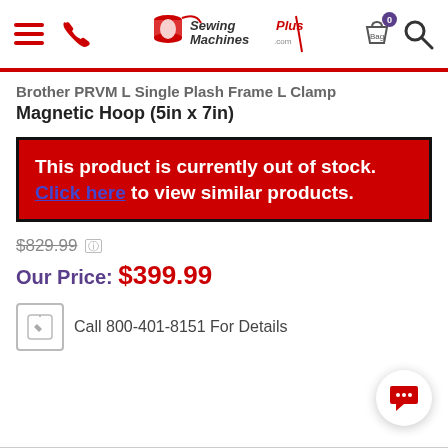SewingMachinesPlus — navigation header with hamburger menu, phone icon, logo, bag (0), and search icon
Brother PRVM L Single Plash Frame L Clamp Magnetic Hoop (5in x 7in)
This product is currently out of stock. Click here to view similar products.
$829.99 [info]
Our Price: $399.99
Call 800-401-8151 For Details